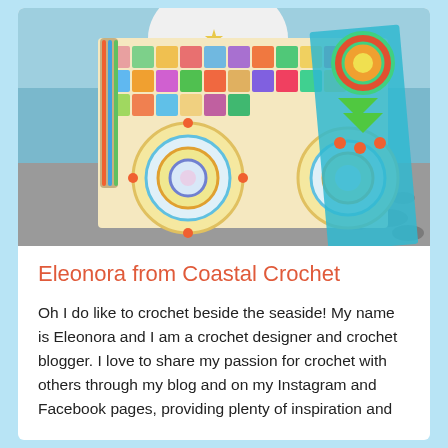[Figure (photo): A woman holding up a colorful crochet blanket/bag with granny squares and circular motifs in bright colors (yellow, blue, orange, green, pink) at a seaside beach location.]
Eleonora from Coastal Crochet
Oh I do like to crochet beside the seaside! My name is Eleonora and I am a crochet designer and crochet blogger. I love to share my passion for crochet with others through my blog and on my Instagram and Facebook pages, providing plenty of inspiration and